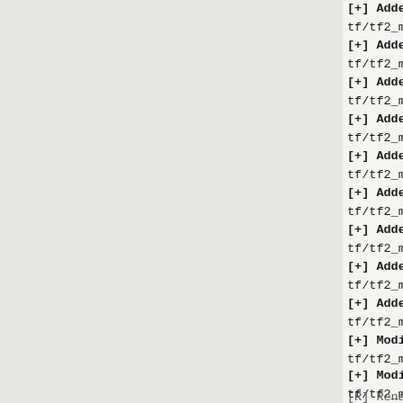[+] Added:
tf/tf2_misc_dir.vpk/materials/models/work
[+] Added:
tf/tf2_misc_dir.vpk/materials/models/work
[+] Added:
tf/tf2_misc_dir.vpk/materials/models/work
[+] Added:
tf/tf2_misc_dir.vpk/materials/models/work
[+] Added:
tf/tf2_misc_dir.vpk/materials/models/work
[+] Added:
tf/tf2_misc_dir.vpk/materials/models/work
[+] Added:
tf/tf2_misc_dir.vpk/materials/models/work
[+] Added:
tf/tf2_misc_dir.vpk/materials/models/work
[+] Added:
tf/tf2_misc_dir.vpk/materials/models/work
[+] Added:
tf/tf2_misc_dir.vpk/materials/models/work
[+] Added:
tf/tf2_misc_dir.vpk/materials/models/work
[+] Modified:
tf/tf2_misc_dir.vpk/resource/ui/mainmenuo
[+] Modified:
tf/tf2_misc_dir.vpk/scripts/game_sounds_m
[R] Renamed: